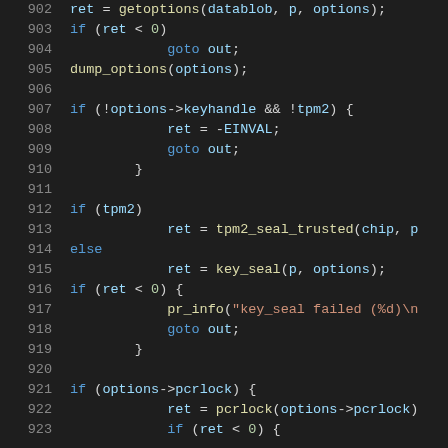Source code lines 902-923, C programming language kernel/TPM code snippet
902: ret = getoptions(datablob, p, options);
903: if (ret < 0)
904:     goto out;
905: dump_options(options);
906:
907: if (!options->keyhandle && !tpm2) {
908:     ret = -EINVAL;
909:     goto out;
910: }
911:
912: if (tpm2)
913:     ret = tpm2_seal_trusted(chip, p
914: else
915:     ret = key_seal(p, options);
916: if (ret < 0) {
917:     pr_info("key_seal failed (%d)\n
918:     goto out;
919: }
920:
921: if (options->pcrlock) {
922:     ret = pcrlock(options->pcrlock)
923:     if (ret < 0) {